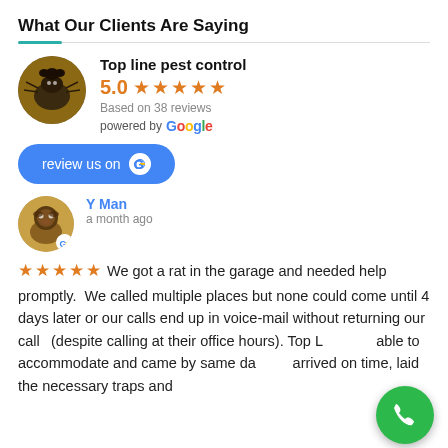What Our Clients Are Saying
[Figure (other): Business profile card: Top line pest control with 5.0 star rating, based on 38 reviews, powered by Google, with a 'review us on Google' button]
[Figure (other): Reviewer profile: Y Man, a month ago, with 5-star review text beginning 'We got a rat in the garage and needed help promptly...']
We got a rat in the garage and needed help promptly.  We called multiple places but none could come until 4 days later or our calls end up in voice-mail without returning our calls (despite calling at their office hours). Top L... able to accommodate and came by same day... arrived on time, laid the necessary traps and
[Figure (other): Green phone FAB (floating action button) in the bottom-right corner]